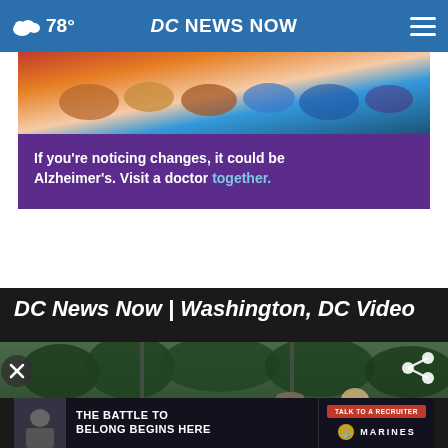78° DC NEWS NOW
[Figure (photo): Advertisement: Alzheimer's awareness ad showing people holding hands with purple background. Text: 'If you're noticing changes, it could be Alzheimer's. Visit a doctor together.']
DC News Now | Washington, DC Video
[Figure (screenshot): Video thumbnail showing two people on a sports field with trees in background. Share icon top right. Close (X) button. Bottom ad banner: 'The Battle To Belong Begins Here' with Marines 'Talk To A Recruiter' CTA.]